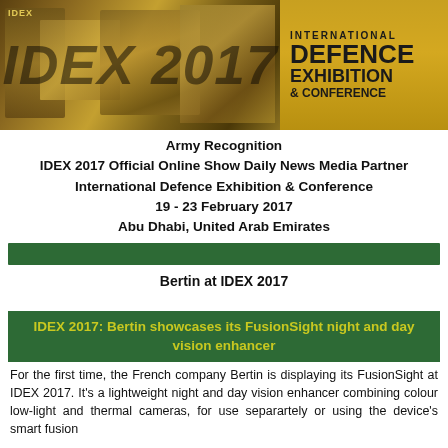[Figure (logo): IDEX 2017 International Defence Exhibition & Conference banner with golden background showing military vehicles collage and the text IDEX 2017 INTERNATIONAL DEFENCE EXHIBITION & CONFERENCE]
Army Recognition
IDEX 2017 Official Online Show Daily News Media Partner
International Defence Exhibition & Conference
19 - 23 February 2017
Abu Dhabi, United Arab Emirates
Bertin at IDEX 2017
IDEX 2017: Bertin showcases its FusionSight night and day vision enhancer
For the first time, the French company Bertin is displaying its FusionSight at IDEX 2017. It's a lightweight night and day vision enhancer combining colour low-light and thermal cameras, for use separartely or using the device's smart fusion